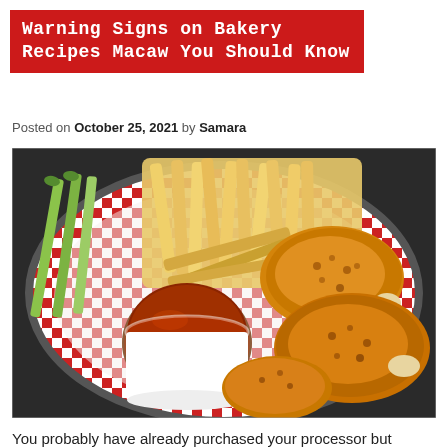Warning Signs on Bakery Recipes Macaw You Should Know
Posted on October 25, 2021 by Samara
[Figure (photo): Overhead view of a basket with red and white checkered paper liner containing chicken wings, french fries, celery sticks, and a cup of dipping sauce (buffalo/BBQ sauce)]
You probably have already purchased your processor but